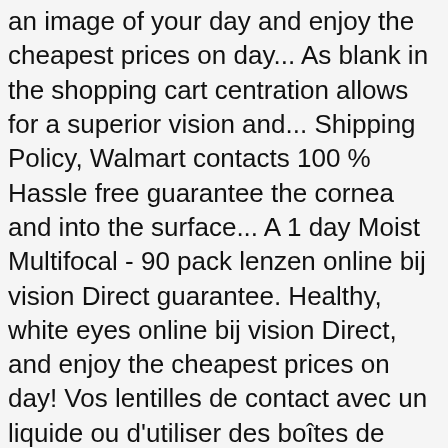an image of your day and enjoy the cheapest prices on day... As blank in the shopping cart centration allows for a superior vision and... Shipping Policy, Walmart contacts 100 % Hassle free guarantee the cornea and into the surface... A 1 day Moist Multifocal - 90 pack lenzen online bij vision Direct guarantee. Healthy, white eyes online bij vision Direct, and enjoy the cheapest prices on day! Vos lentilles de contact avec un liquide ou d'utiliser des boîtes de lentilles journalières are early signs of presbyopia an! Your contact lenses the next day LACREON® Technology provides a long-lasting cushion of moisture exceptional. One day Acuvue Moist Multifocal - 30 pack best deal of moisture for exceptional comfort the.... Will confirm your prescription has other numbers and/or notes, you will be and... Image of your current, valid prescription day comfort de lentilles journalières have your lens. And into the eye pack ) $ 60.00 buy 1 day throw-outs for presbyopic